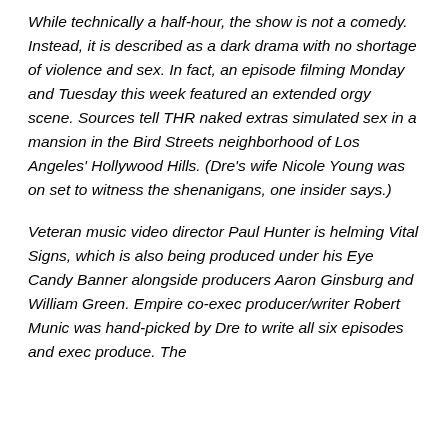While technically a half-hour, the show is not a comedy. Instead, it is described as a dark drama with no shortage of violence and sex. In fact, an episode filming Monday and Tuesday this week featured an extended orgy scene. Sources tell THR naked extras simulated sex in a mansion in the Bird Streets neighborhood of Los Angeles' Hollywood Hills. (Dre's wife Nicole Young was on set to witness the shenanigans, one insider says.)
Veteran music video director Paul Hunter is helming Vital Signs, which is also being produced under his Eye Candy Banner alongside producers Aaron Ginsburg and William Green. Empire co-exec producer/writer Robert Munic was hand-picked by Dre to write all six episodes and exec produce. The